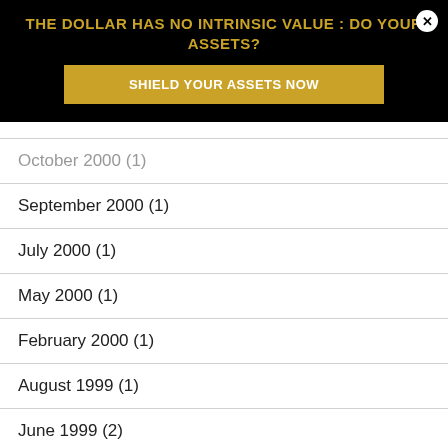THE DOLLAR HAS NO INTRINSIC VALUE : DO YOUR ASSETS?
SHIELD YOUR ASSETS NOW
October 2000 (1)
September 2000 (1)
July 2000 (1)
May 2000 (1)
February 2000 (1)
August 1999 (1)
June 1999 (2)
April 1998 (1)
December 1997 (1)